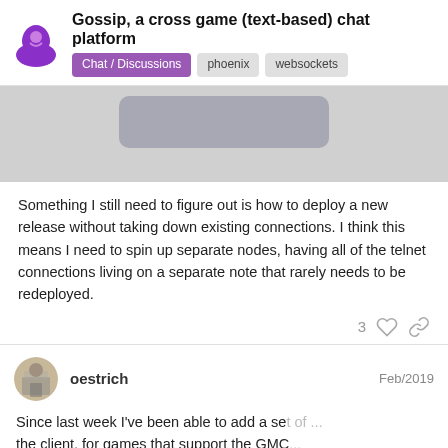Gossip, a cross game (text-based) chat platform — Chat / Discussions phoenix websockets
[Figure (screenshot): Partial screenshot of a chat application interface with a dark rounded rectangle UI element on a light gray background]
Something I still need to figure out is how to deploy a new release without taking down existing connections. I think this means I need to spin up separate nodes, having all of the telnet connections living on a separate note that rarely needs to be redeployed.
oestrich Feb/2019
Since last week I've been able to add a set of ... the client, for games that support the GMC... GMCP protocol is an out of band stream in...